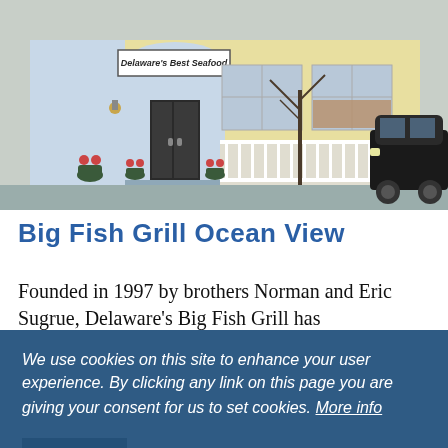[Figure (photo): Exterior photo of a restaurant building with a sign reading 'Delaware's Best Seafood', yellow facade, arched entrance, white porch railing, bare trees, and a dark SUV parked on the right.]
Big Fish Grill Ocean View
Founded in 1997 by brothers Norman and Eric Sugrue, Delaware's Big Fish Grill has
We use cookies on this site to enhance your user experience. By clicking any link on this page you are giving your consent for us to set cookies. More info
GOT IT